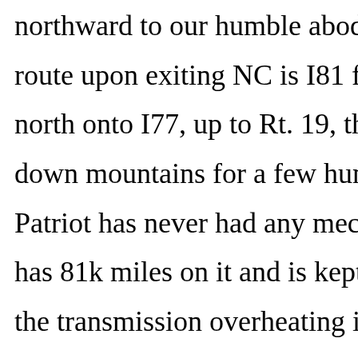northward to our humble abode in Erie route upon exiting NC is I81 for a few north onto I77, up to Rt. 19, then I79 a down mountains for a few hundred mi Patriot has never had any mechanical has 81k miles on it and is kept in the g the transmission overheating idiot ligh I81 - not a particularly hilly stretch. Th there was about 80 °F. I had noticed a